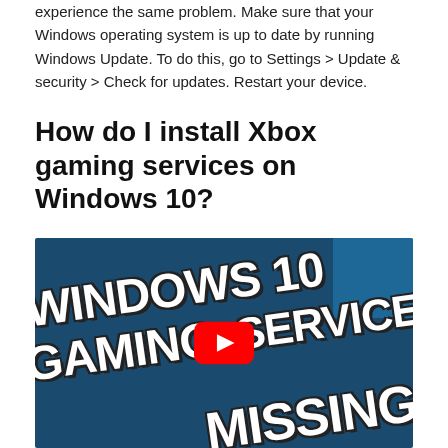experience the same problem. Make sure that your Windows operating system is up to date by running Windows Update. To do this, go to Settings > Update & security > Check for updates. Restart your device.
How do I install Xbox gaming services on Windows 10?
[Figure (screenshot): YouTube video thumbnail with dark blue background showing large bold white text 'WINDOWS 10 GAMING SERVICES MISSING' arranged diagonally, with a YouTube play button overlay in the center.]